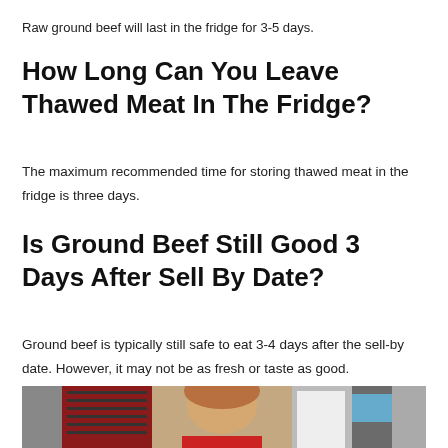Raw ground beef will last in the fridge for 3-5 days.
How Long Can You Leave Thawed Meat In The Fridge?
The maximum recommended time for storing thawed meat in the fridge is three days.
Is Ground Beef Still Good 3 Days After Sell By Date?
Ground beef is typically still safe to eat 3-4 days after the sell-by date. However, it may not be as fresh or taste as good.
[Figure (photo): A woman in a commercial kitchen setting with red refrigeration units and a person in white chef's clothing in the background. A red object is visible at the bottom.]